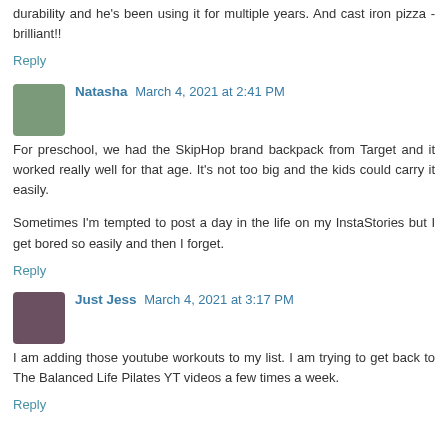durability and he's been using it for multiple years. And cast iron pizza - brilliant!!
Reply
Natasha March 4, 2021 at 2:41 PM
For preschool, we had the SkipHop brand backpack from Target and it worked really well for that age. It's not too big and the kids could carry it easily.
Sometimes I'm tempted to post a day in the life on my InstaStories but I get bored so easily and then I forget.
Reply
Just Jess March 4, 2021 at 3:17 PM
I am adding those youtube workouts to my list. I am trying to get back to The Balanced Life Pilates YT videos a few times a week.
Reply